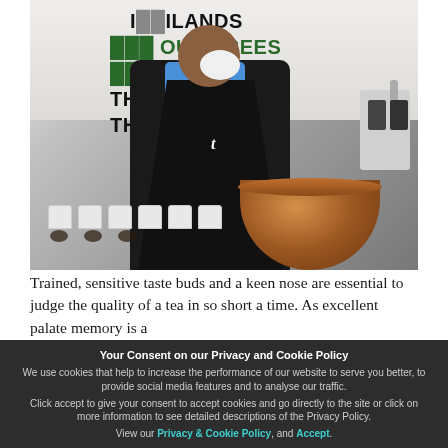[Figure (photo): A man wearing a black apron with a 't' logo and a blue shirt smelling tea, standing behind a row of white cups and a large copper bowl, in a room with text on the wall reading 'ISLANDS', 'OUR TREES', 'PEOPLE', 'THE', 'THE' in dark and green lettering.]
Trained, sensitive taste buds and a keen nose are essential to judge the quality of a tea in so short a time. As excellent palate memory is a
Your Consent on our Privacy and Cookie Policy
We use cookies that help to increase the performance of our website to serve you better, to provide social media features and to analyse our traffic.
Click accept to give your consent to accept cookies and go directly to the site or click on more information to see detailed descriptions of the Privacy Policy.
View our Privacy & Cookie Policy, and Accept.